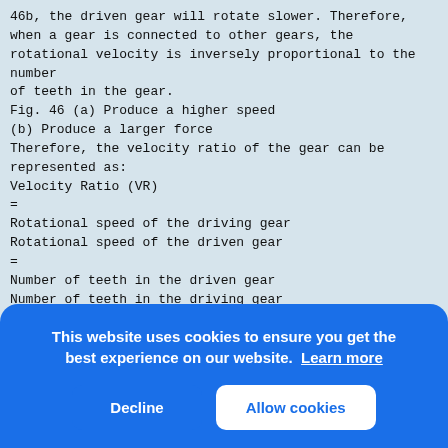46b, the driven gear will rotate slower. Therefore, when a gear is connected to other gears, the rotational velocity is inversely proportional to the number
of teeth in the gear.
Fig. 46 (a) Produce a higher speed
(b) Produce a larger force
Therefore, the velocity ratio of the gear can be represented as:
Velocity Ratio (VR)
=
Rotational speed of the driving gear
Rotational speed of the driven gear
=
Number of teeth in the driven gear
Number of teeth in the driving gear
◻ 27 -
Technological Studies
Mechanics
If the rotational speeds of gear A and gear B are nA
and nB respectively, and their number of teeth
are
VR ◻
nA t
◻
nB t
Ther
is:
Conv
gear
(ii)
Gear mechanism is made up of several gears. They can
change the direction and the distance
This website uses cookies to ensure you get the best experience on our website. Learn more
Decline   Allow cookies